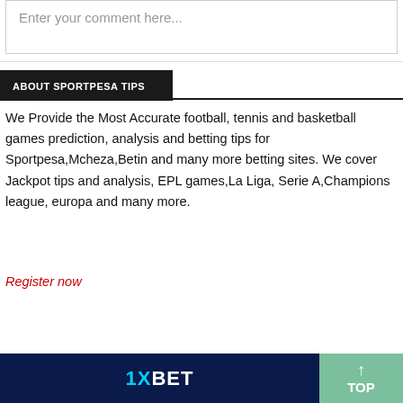Enter your comment here...
ABOUT SPORTPESA TIPS
We Provide the Most Accurate football, tennis and basketball games prediction, analysis and betting tips for Sportpesa,Mcheza,Betin and many more betting sites. We cover Jackpot tips and analysis, EPL games,La Liga, Serie A,Champions league, europa and many more.
Register now
[Figure (other): 1XBET advertisement banner with logo text in blue on dark navy background]
[Figure (other): Green TOP button with upward arrow]